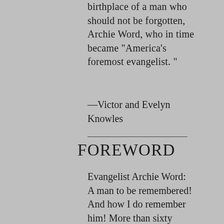birthplace of a man who should not be forgotten, Archie Word, who in time became "America's foremost evangelist. "
—Victor and Evelyn Knowles
FOREWORD
Evangelist Archie Word: A man to be remembered! And how I do remember him! More than sixty years ago he came into my